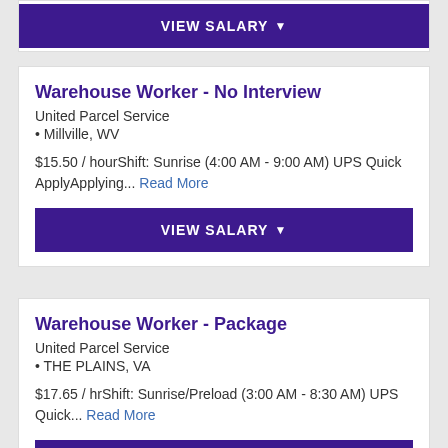[Figure (screenshot): VIEW SALARY button (partial, top of page)]
Warehouse Worker - No Interview
United Parcel Service
• Millville, WV
$15.50 / hourShift: Sunrise (4:00 AM - 9:00 AM) UPS Quick ApplyApplying... Read More
[Figure (screenshot): VIEW SALARY button for Warehouse Worker - No Interview]
Warehouse Worker - Package
United Parcel Service
• THE PLAINS, VA
$17.65 / hrShift: Sunrise/Preload (3:00 AM - 8:30 AM) UPS Quick... Read More
[Figure (screenshot): VIEW SALARY button for Warehouse Worker - Package]